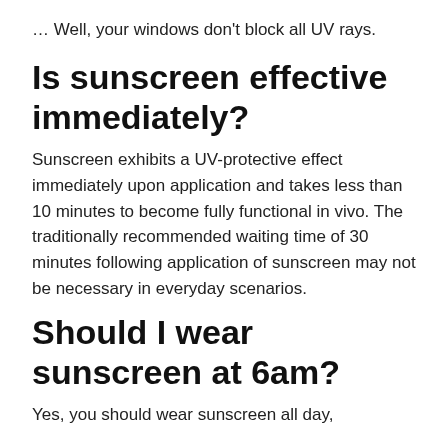… Well, your windows don't block all UV rays.
Is sunscreen effective immediately?
Sunscreen exhibits a UV-protective effect immediately upon application and takes less than 10 minutes to become fully functional in vivo. The traditionally recommended waiting time of 30 minutes following application of sunscreen may not be necessary in everyday scenarios.
Should I wear sunscreen at 6am?
Yes, you should wear sunscreen all day,